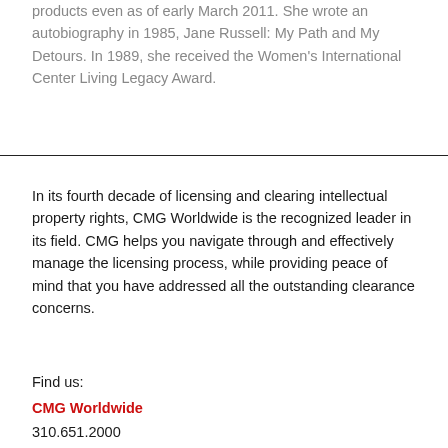products even as of early March 2011. She wrote an autobiography in 1985, Jane Russell: My Path and My Detours. In 1989, she received the Women's International Center Living Legacy Award.
In its fourth decade of licensing and clearing intellectual property rights, CMG Worldwide is the recognized leader in its field. CMG helps you navigate through and effectively manage the licensing process, while providing peace of mind that you have addressed all the outstanding clearance concerns.
Find us:
CMG Worldwide
310.651.2000